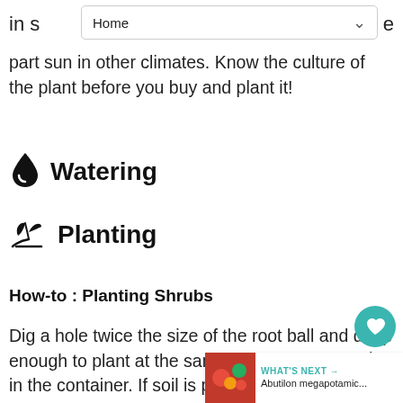in s Home e
part sun in other climates. Know the culture of the plant before you buy and plant it!
💧 Watering
🌿 Planting
How-to : Planting Shrubs
Dig a hole twice the size of the root ball and deep enough to plant at the same level the shrub was in the container. If soil is poor, dig hole even wider and fill with a mixture of original soil and half compost or soil amendment.